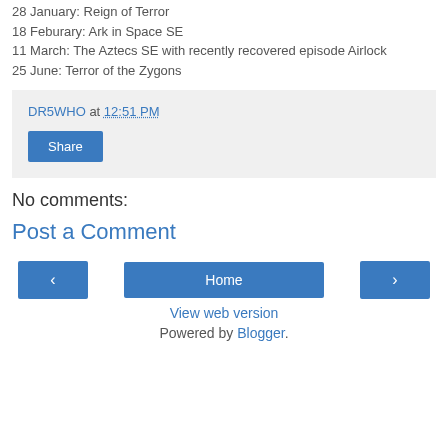28 January: Reign of Terror
18 Feburary: Ark in Space SE
11 March: The Aztecs SE with recently recovered episode Airlock
25 June: Terror of the Zygons
DR5WHO at 12:51 PM
Share
No comments:
Post a Comment
‹  Home  ›
View web version
Powered by Blogger.